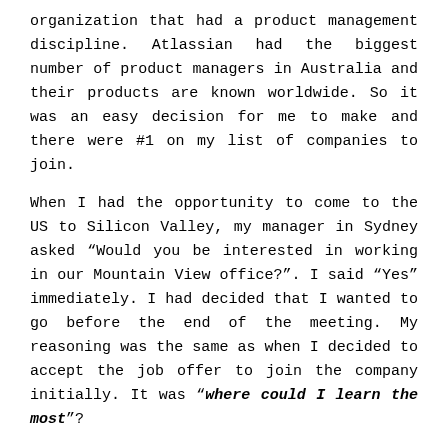organization that had a product management discipline. Atlassian had the biggest number of product managers in Australia and their products are known worldwide. So it was an easy decision for me to make and there were #1 on my list of companies to join.
When I had the opportunity to come to the US to Silicon Valley, my manager in Sydney asked “Would you be interested in working in our Mountain View office?”. I said “Yes” immediately. I had decided that I wanted to go before the end of the meeting. My reasoning was the same as when I decided to accept the job offer to join the company initially. It was “where could I learn the most”?
Learning surface area
I felt that the biggest learning opportunity for me was in the U.S. My luck surface area or more accurately my “learning surface area” was going to be greatest in San Francisco Bay Area. If you work in tech, its a great